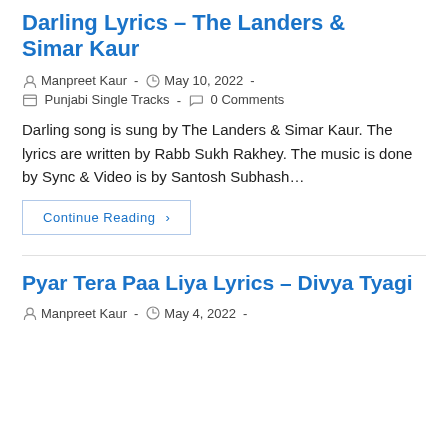Darling Lyrics – The Landers & Simar Kaur
Manpreet Kaur  ·  May 10, 2022  ·  Punjabi Single Tracks  ·  0 Comments
Darling song is sung by The Landers & Simar Kaur. The lyrics are written by Rabb Sukh Rakhey. The music is done by Sync & Video is by Santosh Subhash…
Continue Reading ›
Pyar Tera Paa Liya Lyrics – Divya Tyagi
Manpreet Kaur  ·  May 4, 2022  ·